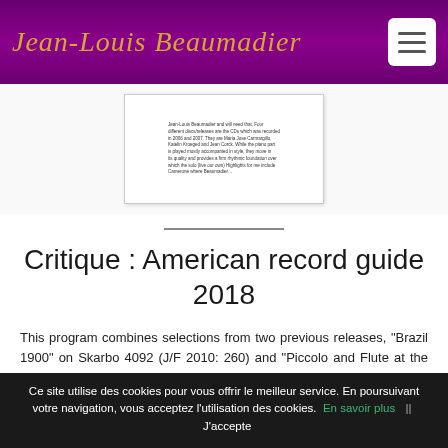Jean-Louis Beaumadier
[Figure (other): Small thumbnail image of a document page with fine text]
Critique : American record guide 2018
This program combines selections from two previous releases, “Brazil 1900” on Skarbo 4092 (J/F 2010: 260) and “Piccolo and Flute at the Opera”, Skarbo 4085 (not reviewed). It consists of salon music by flutist-composers of the 19th and early 20th centuries. About the one earlier release, Perry Tannenbaum warned readers “During an attempt to replay this collection, my wife issued a blunt
Ce site utilise des cookies pour vous offrir le meilleur service. En poursuivant votre navigation, vous acceptez l’utilisation des cookies. En savoir plus || J’accepte